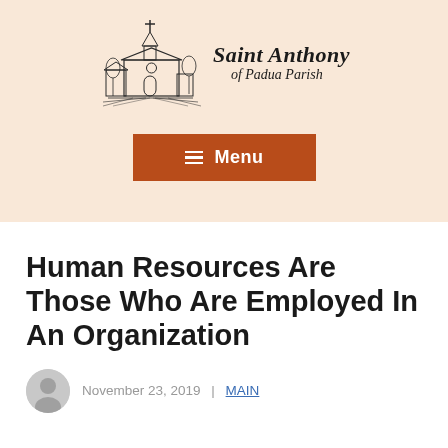[Figure (logo): Saint Anthony of Padua Parish logo with church building illustration and parish name in italic serif font]
[Figure (other): Brown/terracotta colored Menu button with hamburger icon lines and text 'Menu']
Human Resources Are Those Who Are Employed In An Organization
November 23, 2019  |  MAIN